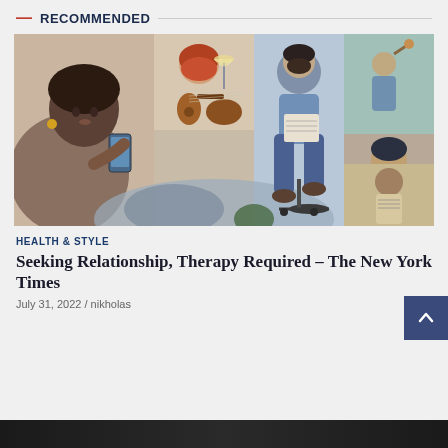— RECOMMENDED
[Figure (illustration): Illustrated collage of multiple people in different scenes: a woman looking at her phone, a bearded man drinking wine, a guitar, a man sitting and reading/writing, a person at a desk chair, a person outdoors, and a man reading a document.]
HEALTH & STYLE
Seeking Relationship, Therapy Required – The New York Times
July 31, 2022  /  nikholas